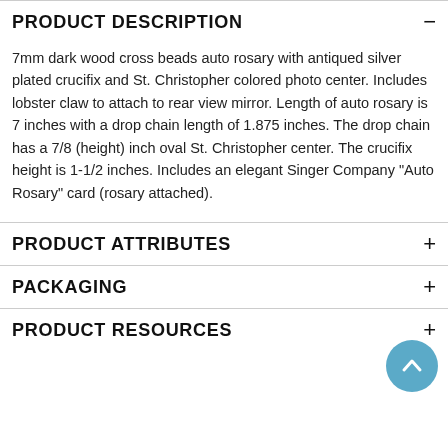PRODUCT DESCRIPTION
7mm dark wood cross beads auto rosary with antiqued silver plated crucifix and St. Christopher colored photo center. Includes lobster claw to attach to rear view mirror. Length of auto rosary is 7 inches with a drop chain length of 1.875 inches. The drop chain has a 7/8 (height) inch oval St. Christopher center. The crucifix height is 1-1/2 inches. Includes an elegant Singer Company "Auto Rosary" card (rosary attached).
PRODUCT ATTRIBUTES
PACKAGING
PRODUCT RESOURCES